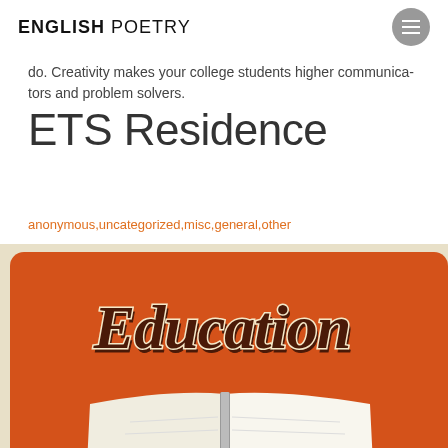ENGLISH POETRY
do. Creativity makes your college students higher communicators and problem solvers.
ETS Residence
anonymous,uncategorized,misc,general,other
[Figure (illustration): Orange education-themed illustration showing an open book with the word 'Education' written in retro script lettering on a warm beige/cream background]